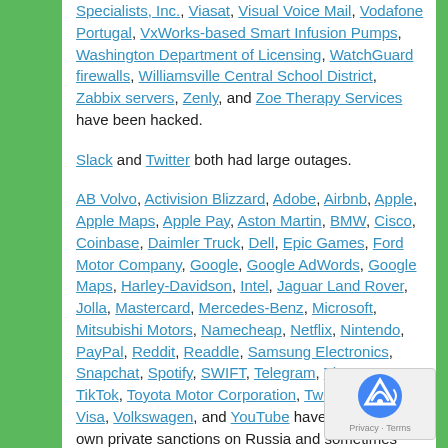Specialists, Inc., Viasat, Visual Voice Mail, Vodafone Portugal, VxWorks-based Smart Infusion Pumps, Washington Department of Licensing, WatchGuard firewalls, Williamsville Central School District, Zabbix servers, Zenly, and Zoe Therapy Services have been hacked.
Slack and Twitter both had large outages.
AB Volvo, Activision Blizzard, Adobe, Airbnb, Apple, Apple Maps, Apple Pay, Aston Martin, BMW, Cisco, Coinbase, Daimler Truck, Dell, Epic Games, Ford Motor Company, Google, Google AdWords, Google Maps, Harley-Davidson, Intel, Jaguar Land Rover, Jolla, Mastercard, Mercedes-Benz, Microsoft, Mitsubishi Motors, Namecheap, Netflix, Nintendo, PayPal, Reddit, Readdle, Samsung Electronics, Snapchat, Spotify, SWIFT, Telegram, The EU, TikTok, Toyota Motor Corporation, Twitter, Ubisoft, Visa, Volkswagen, and YouTube have imposed their own private sanctions on Russia and sometimes Belarus.